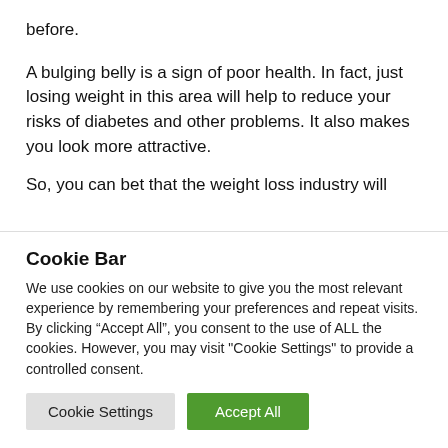before.
A bulging belly is a sign of poor health. In fact, just losing weight in this area will help to reduce your risks of diabetes and other problems. It also makes you look more attractive.
So, you can bet that the weight loss industry will
Cookie Bar
We use cookies on our website to give you the most relevant experience by remembering your preferences and repeat visits. By clicking “Accept All”, you consent to the use of ALL the cookies. However, you may visit “Cookie Settings” to provide a controlled consent.